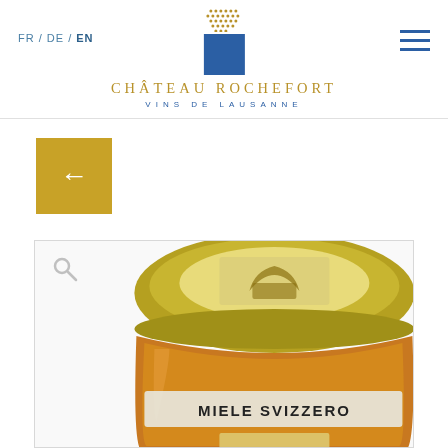FR / DE / EN | CHÂTEAU ROCHEFORT VINS DE LAUSANNE
[Figure (logo): Château Rochefort logo with blue square, dot grid, and gold/blue text]
[Figure (other): Back navigation arrow button in gold/yellow square]
[Figure (photo): Close-up photo of a honey jar labeled MIELE SVIZZERO with a decorative yellow lid showing a beehive illustration]